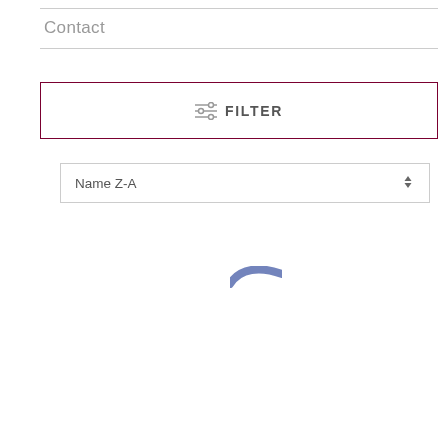Contact
[Figure (screenshot): A FILTER button with a filter/sliders icon, inside a dark red/maroon border rectangle]
[Figure (screenshot): A dropdown sort selector showing 'Name Z-A' with up/down arrow indicator]
[Figure (illustration): Partial blue loading spinner or logo element visible at bottom center]